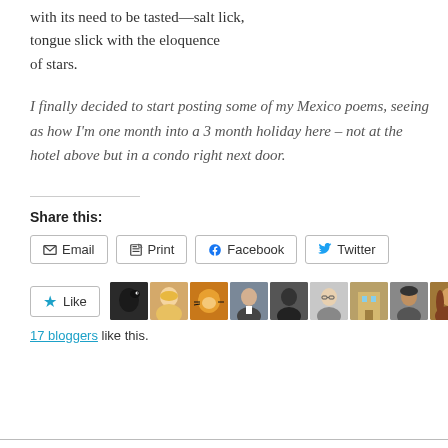with its need to be tasted—salt lick,
tongue slick with the eloquence
of stars.
I finally decided to start posting some of my Mexico poems, seeing as how I'm one month into a 3 month holiday here – not at the hotel above but in a condo right next door.
Share this:
Email
Print
Facebook
Twitter
Like
17 bloggers like this.